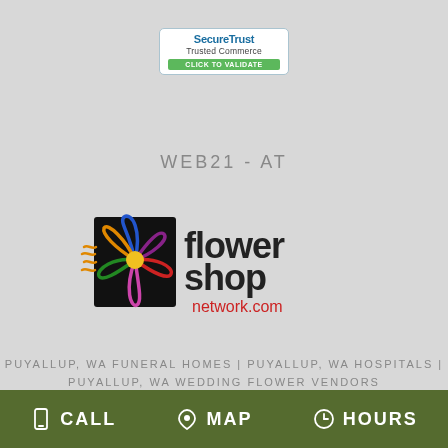[Figure (logo): SecureTrust Trusted Commerce badge with blue border and green CLICK TO VALIDATE button]
WEB21-AT
[Figure (logo): Flower Shop Network.com logo with colorful flower illustration]
PUYALLUP, WA FUNERAL HOMES | PUYALLUP, WA HOSPITALS |
PUYALLUP, WA WEDDING FLOWER VENDORS
PUYALLUP, WA WEATHER | WA STATE GOVERNMENT SITE
PRIVACY POLICY | TERMS OF PURCHASE
CALL  MAP  HOURS